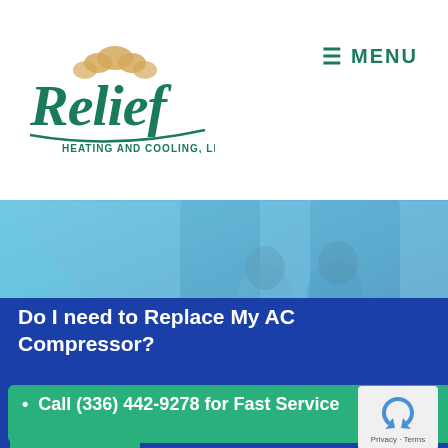[Figure (logo): Relief Heating and Cooling, LLC logo — stylized green cursive 'Relief' with cloud motif and tagline 'HEATING AND COOLING, LLC']
≡ MENU
[Figure (photo): Hero photo showing two children and adults at a table, with a teal/blue gradient overlay]
Do I need to Replace My AC Compressor?
• Call (336) 442-9278 for Fast Service